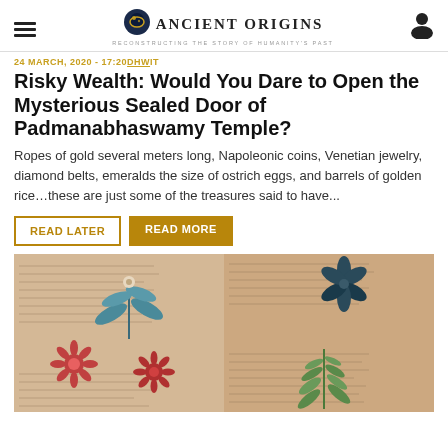Ancient Origins — Reconstructing the story of humanity's past
24 MARCH, 2020 - 17:20DHWIT
Risky Wealth: Would You Dare to Open the Mysterious Sealed Door of Padmanabhaswamy Temple?
Ropes of gold several meters long, Napoleonic coins, Venetian jewelry, diamond belts, emeralds the size of ostrich eggs, and barrels of golden rice…these are just some of the treasures said to have...
READ LATER | READ MORE
[Figure (photo): Open pages of the Voynich manuscript showing botanical illustrations of plants with red star-like flowers, blue leaf-like plants, green ferns, accompanied by handwritten text in an unknown script.]